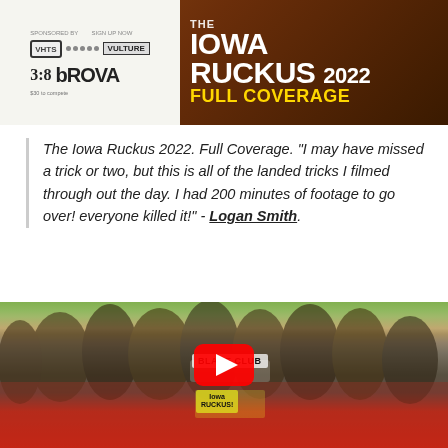[Figure (photo): Iowa Ruckus 2022 Full Coverage banner with logos on left (white background with VHTS, dots, Vulture, 3:8BROVA logos) and dark brown/rust right side with large white 'THE IOWA RUCKUS 2022' text and yellow 'FULL COVERAGE' text]
The Iowa Ruckus 2022. Full Coverage. "I may have missed a trick or two, but this is all of the landed tricks I filmed through out the day. I had 200 minutes of footage to go over! everyone killed it!" - Logan Smith.
[Figure (photo): Group photo of a large crowd of inline skaters at an outdoor skate spot, holding 'Blade Club' and 'Iowa RUCKUS!' signs, with a YouTube play button overlay in the center. The bottom shows a red skate ramp.]